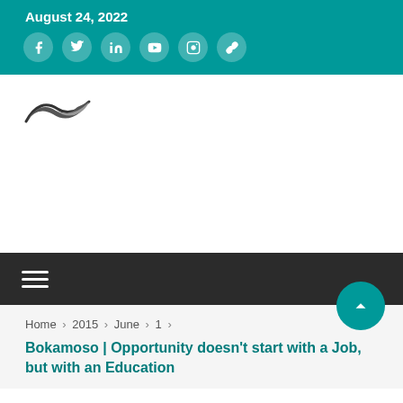August 24, 2022
[Figure (logo): Partial logo image visible in white content area]
Home › 2015 › June › 1 ›
Bokamoso | Opportunity doesn't start with a Job, but with an Education